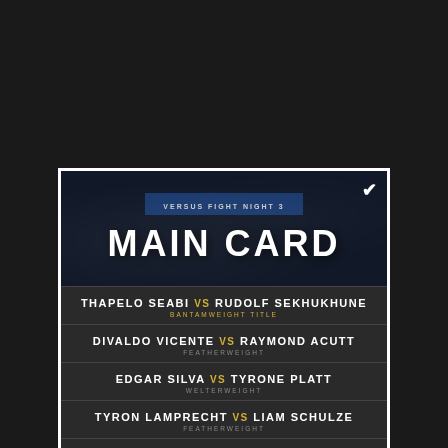VERSUS FIGHT NIGHT 3
MAIN CARD
THAPELO SEABI VS RUDOLF SEKHUKHUNE — BANTAMWEIGHT TITLE
DIVALDO VICENTE VS RAYMOND ACUTT — FEATHERWEIGHT
EDGAR SILVA VS TYRONE PLATT — WELTERWEIGHT
TYRON LAMPRECHT VS LIAM SCHULZE — FEATHERWEIGHT
NTANDO ZONDI VS MOSES MOKHARI — FLYWEIGHT